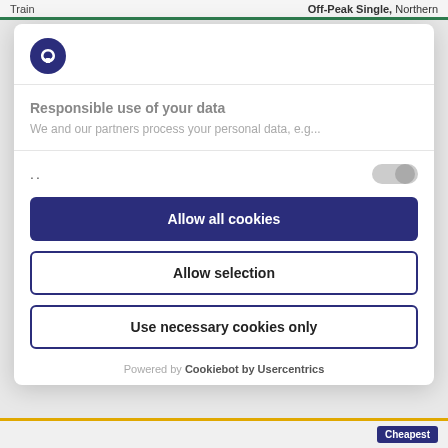Train  Off-Peak Single, Northern
[Figure (logo): Northern rail logo - dark blue circle with white 'n' letter]
Responsible use of your data
We and our partners process your personal data, e.g...
..
Allow all cookies
Allow selection
Use necessary cookies only
Powered by Cookiebot by Usercentrics
Cheapest